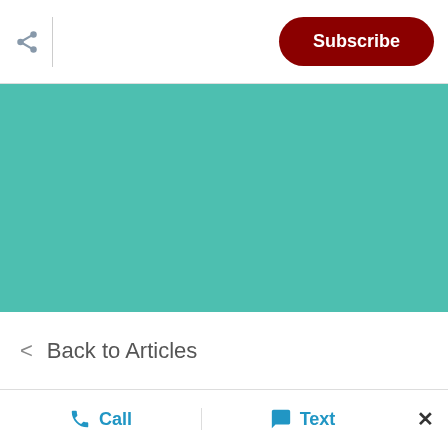Subscribe
[Figure (illustration): Teal/turquoise colored hero banner area]
< Back to Articles
We use cookies to enhance your browsing experience and deliver our services. By continuing to visit this site, you agree to our use of cookies. More Info
Call   Text